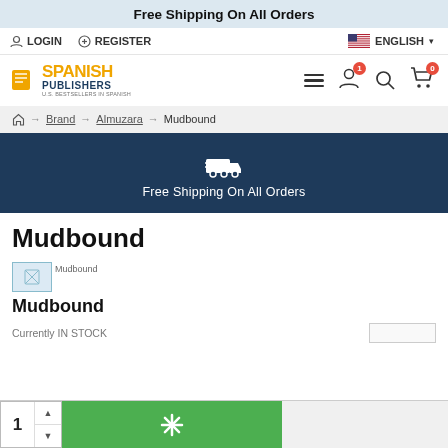Free Shipping On All Orders
LOGIN   REGISTER   ENGLISH
[Figure (logo): Spanish Publishers logo with orange book icon, yellow SP text, dark blue PUBLISHERS text]
Home → Brand → Almuzara → Mudbound
[Figure (infographic): Dark navy shipping banner with truck icon and text: Free Shipping On All Orders]
Mudbound
[Figure (photo): Mudbound product image placeholder]
Mudbound
Currently IN STOCK